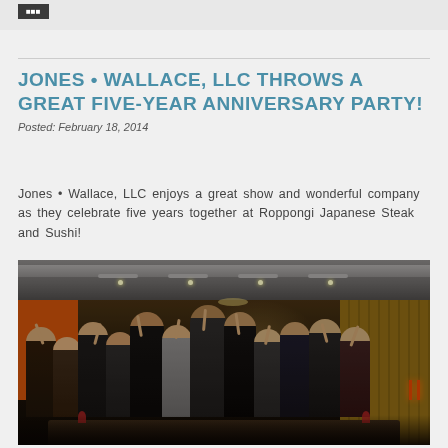JONES • WALLACE, LLC THROWS A GREAT FIVE-YEAR ANNIVERSARY PARTY!
Posted: February 18, 2014
Jones • Wallace, LLC enjoys a great show and wonderful company as they celebrate five years together at Roppongi Japanese Steak and Sushi!
[Figure (photo): Group photo of Jones Wallace LLC employees at Roppongi Japanese Steak and Sushi restaurant, all raising their hands/showing five fingers to celebrate five years, taken in a dimly lit restaurant setting with orange walls and wood panel decor]